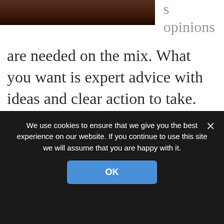[Figure (photo): Partial dark/brown image at the top of the page, cropped]
s
opinions are needed on the mix. What you want is expert advice with ideas and clear action to take. What you MUST avoid is amateur debate. You don't have time for it. Agree before entering the mix who can offer opinion if a discussion about the mix begins. While you can be guided by the professional mixer, you may also find they don't know the politics and so
We use cookies to ensure that we give you the best experience on our website. If you continue to use this site we will assume that you are happy with it.
OK